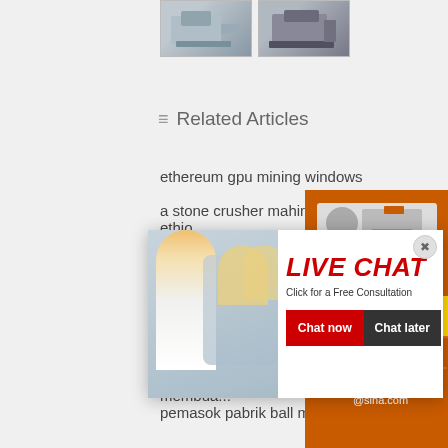[Figure (photo): Two thumbnail images of industrial machinery]
≡ Related Articles
ethereum gpu mining windows
a stone crusher mahine manufacturer in ethio...
coppe...
vertic...
coal m...
granit...
triangular belt conveyor   mikro hidro membua...
pemasok pabrik ball mill dari beawar
silica sand processors sri lanka
indonesian copper mines   jaw crusher ci85
senarai daftar harga crusher run
silica quartz grinding machine
[Figure (screenshot): Right sidebar with orange background showing mining machinery images, Enjoy 3% discount Click to Chat button, Enquiry section, and limingjlmofen@sina.com email]
[Figure (screenshot): Live Chat popup overlay with worker photo, LIVE CHAT heading in red italic, Click for a Free Consultation text, Chat now (red) and Chat later (dark) buttons, and close X button]